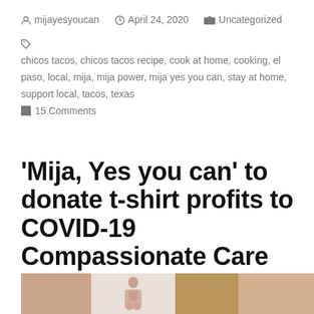mijayesyoucan  April 24, 2020  Uncategorized
chicos tacos, chicos tacos recipe, cook at home, cooking, el paso, local, mija, mija power, mija yes you can, stay at home, support local, tacos, texas
15 Comments
'Mija, Yes you can' to donate t-shirt profits to COVID-19 Compassionate Care Fund
[Figure (photo): Thumbnail image strip showing partial photo at bottom of page]